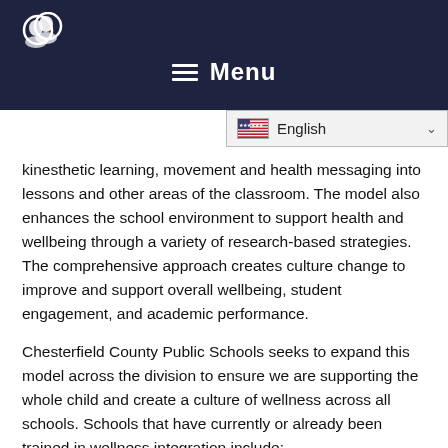[Figure (logo): Two speech bubble / profile icons in white on dark navy background, website logo]
☰ Menu
[Figure (screenshot): English language selector dropdown showing US flag and chevron]
kinesthetic learning, movement and health messaging into lessons and other areas of the classroom. The model also enhances the school environment to support health and wellbeing through a variety of research-based strategies. The comprehensive approach creates culture change to improve and support overall wellbeing, student engagement, and academic performance.
Chesterfield County Public Schools seeks to expand this model across the division to ensure we are supporting the whole child and create a culture of wellness across all schools. Schools that have currently or already been trained in wellness integration include:
Bellwood Elementary